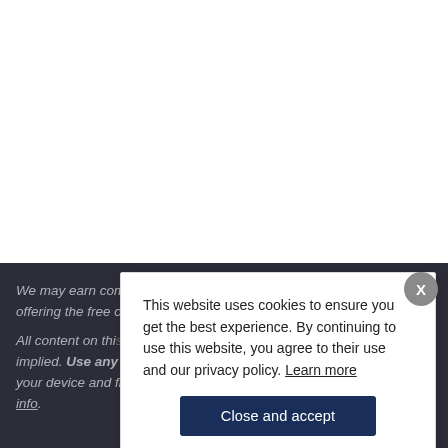We may earn com... offering the free c...
All content on this... implied. Use any i... your device and fi... info.
This website uses cookies to ensure you get the best experience. By continuing to use this website, you agree to their use and our privacy policy. Learn more